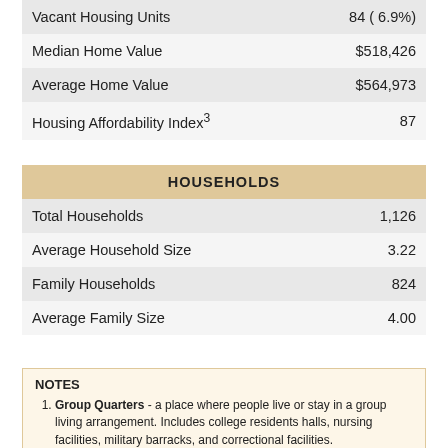|  |  |
| --- | --- |
| Vacant Housing Units | 84 ( 6.9%) |
| Median Home Value | $518,426 |
| Average Home Value | $564,973 |
| Housing Affordability Index³ | 87 |
| HOUSEHOLDS |  |
| --- | --- |
| Total Households | 1,126 |
| Average Household Size | 3.22 |
| Family Households | 824 |
| Average Family Size | 4.00 |
NOTES
Group Quarters - a place where people live or stay in a group living arrangement. Includes college residents halls, nursing facilities, military barracks, and correctional facilities.
The Diversity Index is a scale of 0 to 100 that